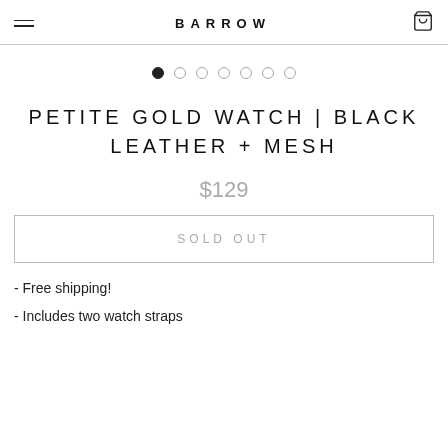BARROW
[Figure (other): Carousel dot indicators: 7 dots, first one filled/active, rest are empty circles]
PETITE GOLD WATCH | BLACK LEATHER + MESH
$129
SOLD OUT
- Free shipping!
- Includes two watch straps